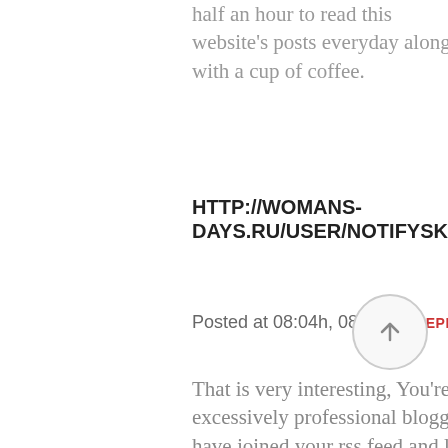half an hour to read this website's posts everyday along with a cup of coffee.
HTTP://WOMANS-DAYS.RU/USER/NOTIFYSKATE1/
Posted at 08:04h, 08 June  REPLY
That is very interesting, You're an excessively professional blogger. I have joined your rss feed and look ahead to in the hunt